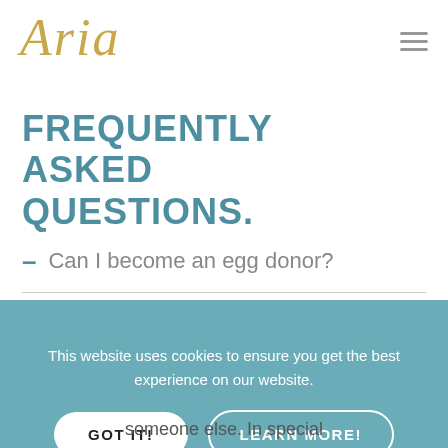[Figure (logo): Aria logo in gold italic script font]
FREQUENTLY ASKED QUESTIONS.
– Can I become an egg donor?
[Figure (screenshot): Cookie consent banner with teal background. Text: 'This website uses cookies to ensure you get the best experience on our website.' Two buttons: 'GOT IT!' and 'LEARN MORE!']
someone else. In special